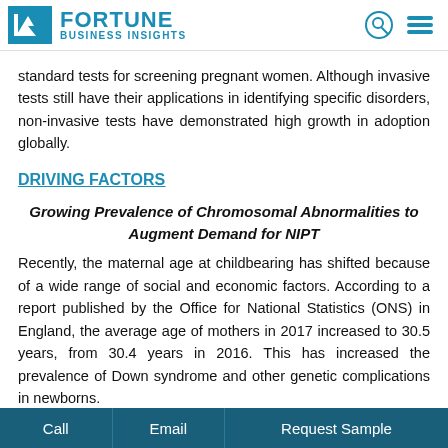Fortune Business Insights
standard tests for screening pregnant women. Although invasive tests still have their applications in identifying specific disorders, non-invasive tests have demonstrated high growth in adoption globally.
DRIVING FACTORS
Growing Prevalence of Chromosomal Abnormalities to Augment Demand for NIPT
Recently, the maternal age at childbearing has shifted because of a wide range of social and economic factors. According to a report published by the Office for National Statistics (ONS) in England, the average age of mothers in 2017 increased to 30.5 years, from 30.4 years in 2016. This has increased the prevalence of Down syndrome and other genetic complications in newborns.
According to a report published by EUROSTAT, a well...
Call  Email  Request Sample